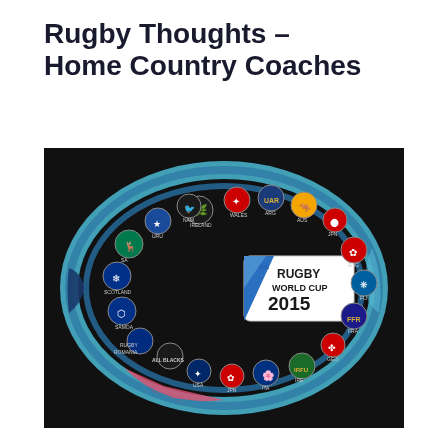Rugby Thoughts – Home Country Coaches
[Figure (photo): A black Rugby World Cup 2015 jersey or fabric featuring an oval rugby ball design with blue metallic trim and red accents. Inside the oval are the logos/badges of all 20 participating nations arranged in a circle around the central Rugby World Cup 2015 badge. Teams visible include All Blacks, Scotland, Samoa, South Africa, Uruguay, Ireland (IRFU), France (FFR), Italy, Japan, Georgia, Romania, Argentina (UAR), Australia, Fiji, Wales, Ireland, and others.]